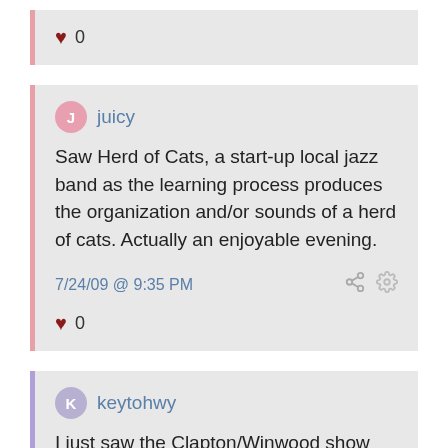♥ 0
juicy
Saw Herd of Cats, a start-up local jazz band as the learning process produces the organization and/or sounds of a herd of cats. Actually an enjoyable evening.
7/24/09 @ 9:35 PM
♥ 0
keytohwy
I just saw the Clapton/Winwood show when it came through. I've been an avid Clapton fan for